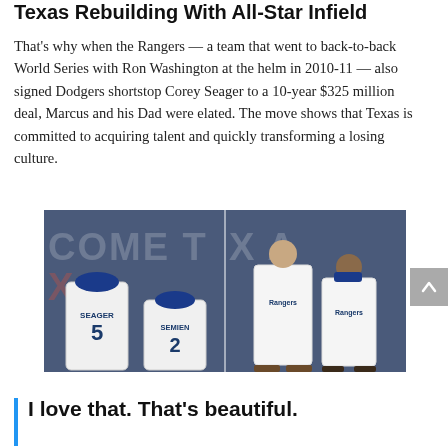Texas Rebuilding With All-Star Infield
That’s why when the Rangers — a team that went to back-to-back World Series with Ron Washington at the helm in 2010-11 — also signed Dodgers shortstop Corey Seager to a 10-year $325 million deal, Marcus and his Dad were elated. The move shows that Texas is committed to acquiring talent and quickly transforming a losing culture.
[Figure (photo): Two side-by-side photos of Texas Rangers players. Left photo: Two players from behind showing jerseys — SEAGER #5 and SEMIEN #2 — in front of a Texas Rangers backdrop. Right photo: The same two players facing forward in white Rangers jerseys in front of the same backdrop.]
I love that. That’s beautiful.